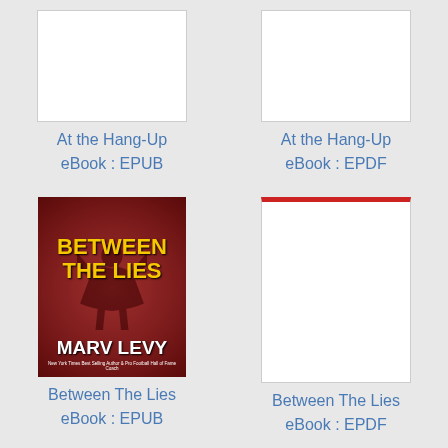[Figure (illustration): Blank white book cover placeholder for At the Hang-Up EPUB]
At the Hang-Up
eBook : EPUB
[Figure (illustration): Blank white book cover placeholder for At the Hang-Up EPDF]
At the Hang-Up
eBook : EPDF
[Figure (illustration): Book cover for Between The Lies by Marv Levy, dark red background with silhouette figure and yellow title text]
Between The Lies
eBook : EPUB
[Figure (illustration): Partial book cover for Between The Lies EPDF with red top border]
Between The Lies
eBook : EPDF